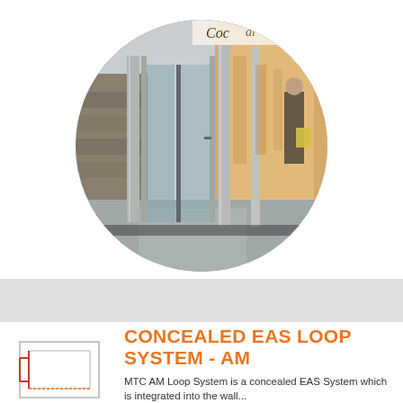[Figure (photo): Circular cropped photograph of a retail store entrance with glass panel doors and EAS security pillars, showing a mall interior with shoppers and product displays in the background. Store signage reading 'Coc...al' visible at top.]
CONCEALED EAS LOOP SYSTEM - AM
[Figure (schematic): Small line diagram/schematic in the bottom-left corner showing a rectangular floor plan outline with red/orange accent lines indicating the concealed loop system installation pattern.]
MTC AM Loop System is a concealed EAS System which is integrated into the wall...